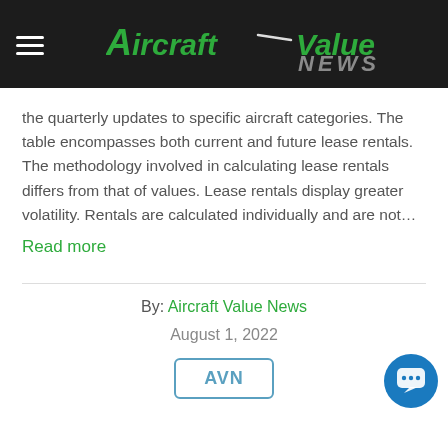Aircraft Value News
the quarterly updates to specific aircraft categories. The table encompasses both current and future lease rentals. The methodology involved in calculating lease rentals differs from that of values. Lease rentals display greater volatility. Rentals are calculated individually and are not…
Read more
By: Aircraft Value News
August 1, 2022
AVN